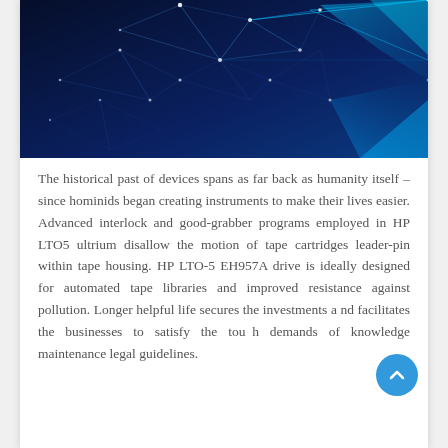[Figure (illustration): Dark blue tech/network background image with glowing geometric triangle mesh and blue light beams on a dark navy background]
The historical past of devices spans as far back as humanity itself – since hominids began creating instruments to make their lives easier. Advanced interlock and good-grabber programs employed in HP LTO5 ultrium disallow the motion of tape cartridges leader-pin within tape housing. HP LTO-5 EH957A drive is ideally designed for automated tape libraries and improved resistance against pollution. Longer helpful life secures the investments and facilitates the businesses to satisfy the tough demands of knowledge maintenance legal guidelines.